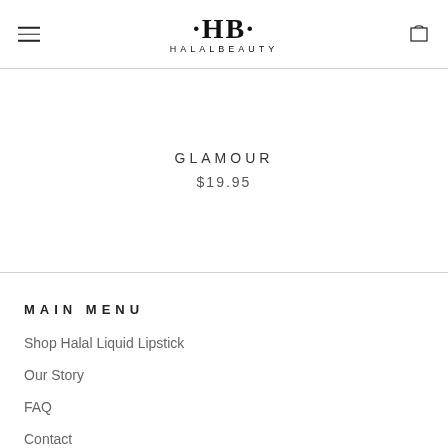[Figure (logo): HalalBeauty logo with stylized HB emblem and text HALALBEAUTY]
GLAMOUR
$19.95
MAIN MENU
Shop Halal Liquid Lipstick
Our Story
FAQ
Contact